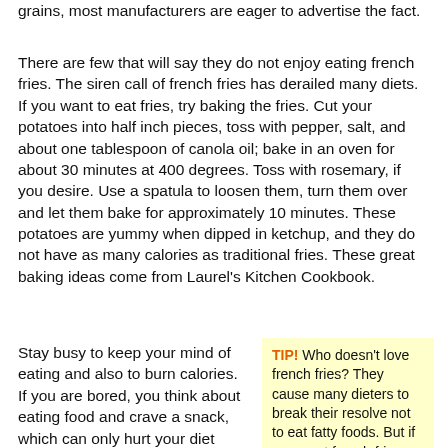grains, most manufacturers are eager to advertise the fact.
There are few that will say they do not enjoy eating french fries. The siren call of french fries has derailed many diets. If you want to eat fries, try baking the fries. Cut your potatoes into half inch pieces, toss with pepper, salt, and about one tablespoon of canola oil; bake in an oven for about 30 minutes at 400 degrees. Toss with rosemary, if you desire. Use a spatula to loosen them, turn them over and let them bake for approximately 10 minutes. These potatoes are yummy when dipped in ketchup, and they do not have as many calories as traditional fries. These great baking ideas come from Laurel's Kitchen Cookbook.
Stay busy to keep your mind of eating and also to burn calories. If you are bored, you think about eating food and crave a snack, which can only hurt your diet plan. It is important to keep yourself busy to prevent this from
TIP! Who doesn't love french fries? They cause many dieters to break their resolve not to eat fatty foods. But if you want french fries that will